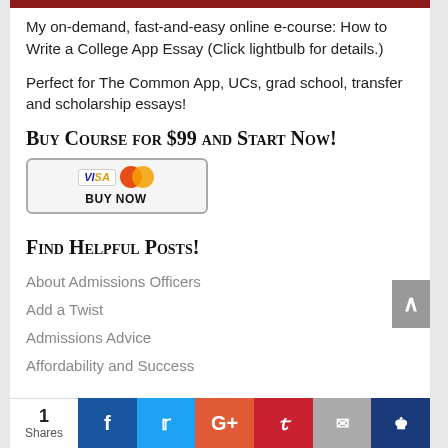[Figure (photo): Dark red/maroon image at top of content area]
My on-demand, fast-and-easy online e-course: How to Write a College App Essay (Click lightbulb for details.)
Perfect for The Common App, UCs, grad school, transfer and scholarship essays!
Buy Course for $99 and Start Now!
[Figure (other): Visa/Mastercard Buy Now payment button]
Find Helpful Posts!
About Admissions Officers
Add a Twist
Admissions Advice
Affordability and Success
1 Shares | Facebook | Twitter | Google+ | Pinterest | Email | Crown